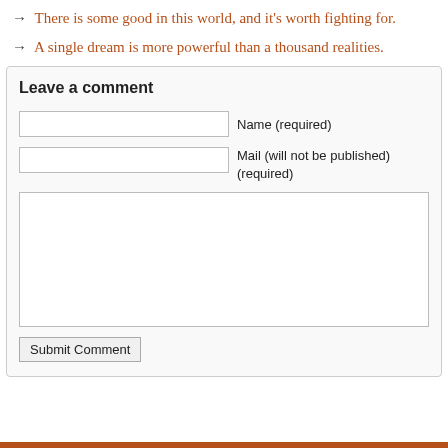→ There is some good in this world, and it's worth fighting for.
→ A single dream is more powerful than a thousand realities.
Leave a comment
Name (required)
Mail (will not be published) (required)
Submit Comment